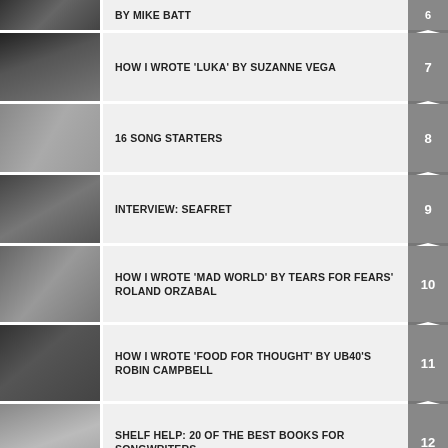BY MIKE BATT
[Figure (photo): Black and white photo of a woman]
HOW I WROTE 'LUKA' BY SUZANNE VEGA - 7
[Figure (photo): Black and white photo of hands writing]
16 SONG STARTERS - 8
[Figure (photo): Black and white photo of two people]
INTERVIEW: SEAFRET - 9
[Figure (photo): Black and white photo of person with sunglasses]
HOW I WROTE 'MAD WORLD' BY TEARS FOR FEARS' ROLAND ORZABAL - 10
[Figure (photo): Black and white photo of musicians]
HOW I WROTE 'FOOD FOR THOUGHT' BY UB40'S ROBIN CAMPBELL - 11
[Figure (photo): Black and white photo of books on shelf]
SHELF HELP: 20 OF THE BEST BOOKS FOR SONGWRITERS - 12
[Figure (photo): Black and white photo of performers]
HOW I WROTE 'TURNING JAPANESE' BY THE ...